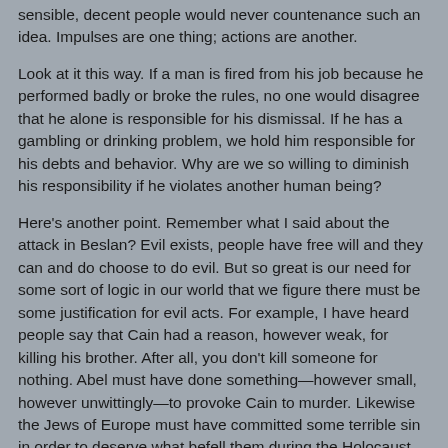sensible, decent people would never countenance such an idea. Impulses are one thing; actions are another.
Look at it this way. If a man is fired from his job because he performed badly or broke the rules, no one would disagree that he alone is responsible for his dismissal. If he has a gambling or drinking problem, we hold him responsible for his debts and behavior. Why are we so willing to diminish his responsibility if he violates another human being?
Here's another point. Remember what I said about the attack in Beslan? Evil exists, people have free will and they can and do choose to do evil. But so great is our need for some sort of logic in our world that we figure there must be some justification for evil acts. For example, I have heard people say that Cain had a reason, however weak, for killing his brother. After all, you don't kill someone for nothing. Abel must have done something—however small, however unwittingly—to provoke Cain to murder. Likewise the Jews of Europe must have committed some terrible sin in order to deserve what befell them during the Holocaust, and the United States must have done something bad to deserve the horror of 9/11.